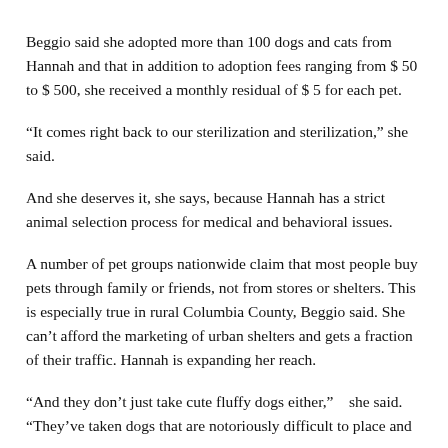Beggio said she adopted more than 100 dogs and cats from Hannah and that in addition to adoption fees ranging from $ 50 to $ 500, she received a monthly residual of $ 5 for each pet.
“It comes right back to our sterilization and sterilization,” she said.
And she deserves it, she says, because Hannah has a strict animal selection process for medical and behavioral issues.
A number of pet groups nationwide claim that most people buy pets through family or friends, not from stores or shelters. This is especially true in rural Columbia County, Beggio said. She can’t afford the marketing of urban shelters and gets a fraction of their traffic. Hannah is expanding her reach.
“And they don’t just take cute fluffy dogs either,”  she said. “They’ve taken dogs that are notoriously difficult to place and